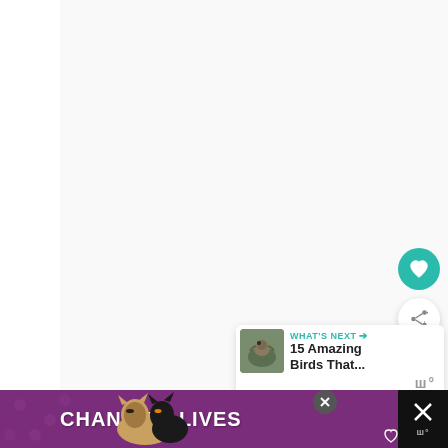[Figure (screenshot): Web page screenshot showing a mostly white content area with a teal heart/favorite button and a white share button on the right side. A 'What's Next' card appears in the lower right with a bird photo thumbnail and text '15 Amazing Birds That...' with a teal arrow. A brand logo 'w°' appears below. At the bottom is a purple advertisement banner reading 'CHANGE LIVES' with cat imagery and a close button.]
WHAT'S NEXT →
15 Amazing Birds That...
w°
CHANGE LIVES